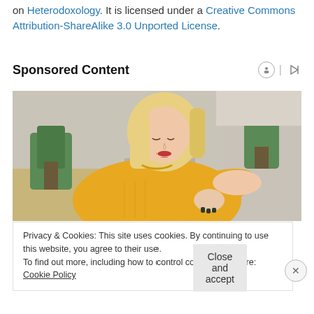on Heterodoxology. It is licensed under a Creative Commons Attribution-ShareAlike 3.0 Unported License.
Sponsored Content
[Figure (photo): A young blonde woman in a yellow knit sweater looking at her elbow, seated on a couch with a plant in the background.]
Privacy & Cookies: This site uses cookies. By continuing to use this website, you agree to their use.
To find out more, including how to control cookies, see here: Cookie Policy
Close and accept